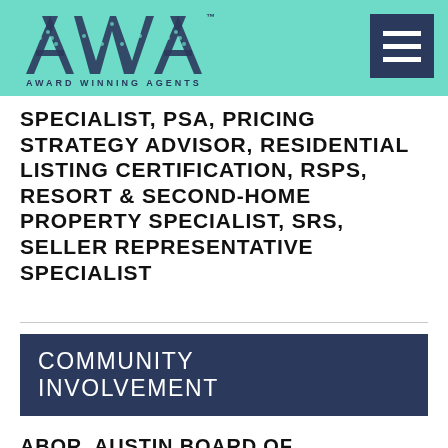Award Winning Agents
[Figure (logo): Award Winning Agents (AWA) logo with stylized letters A W A made of dots on teal background]
SPECIALIST, PSA, PRICING STRATEGY ADVISOR, RESIDENTIAL LISTING CERTIFICATION, RSPS, RESORT & SECOND-HOME PROPERTY SPECIALIST, SRS, SELLER REPRESENTATIVE SPECIALIST
COMMUNITY INVOLVEMENT
ABOR, AUSTIN BOARD OF REALTORS®, INSTITUTE FOR LUXURY HOME MARKETING, NAR, NATIONAL ASSOCIATION OF REALTORS®